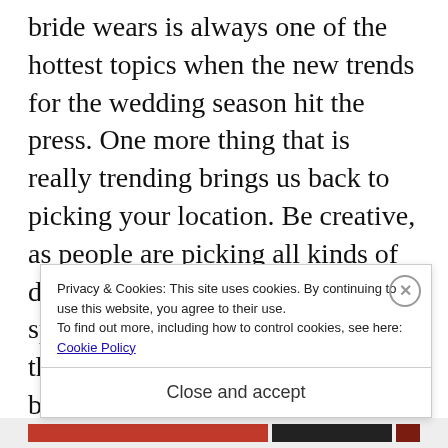bride wears is always one of the hottest topics when the new trends for the wedding season hit the press. One more thing that is really trending brings us back to picking your location. Be creative, as people are picking all kinds of different places. It could be your spot with your significant other that you always visit, or it could be a place you've always wanted to go. That's one of the biggest wedding trends of
Privacy & Cookies: This site uses cookies. By continuing to use this website, you agree to their use.
To find out more, including how to control cookies, see here: Cookie Policy
Close and accept